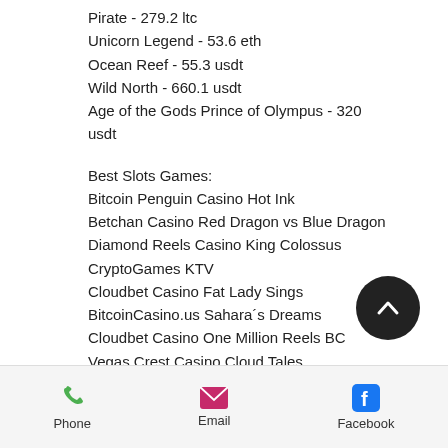Pirate - 279.2 ltc
Unicorn Legend - 53.6 eth
Ocean Reef - 55.3 usdt
Wild North - 660.1 usdt
Age of the Gods Prince of Olympus - 320 usdt
Best Slots Games:
Bitcoin Penguin Casino Hot Ink
Betchan Casino Red Dragon vs Blue Dragon
Diamond Reels Casino King Colossus
CryptoGames KTV
Cloudbet Casino Fat Lady Sings
BitcoinCasino.us Sahara´s Dreams
Cloudbet Casino One Million Reels BC
Vegas Crest Casino Cloud Tales
Playamo Casino Blossom Garden
mBit Casino Fancy Fruits Chicken Shooter
Phone   Email   Facebook